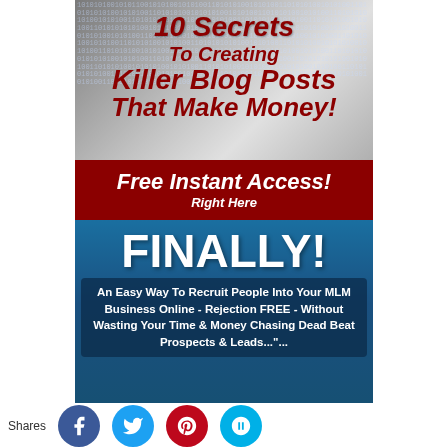[Figure (illustration): Book cover advertisement for '10 Secrets To Creating Killer Blog Posts That Make Money!' with binary code background and money imagery. Includes red banner reading 'Free Instant Access! Right Here']
FINALLY!
An Easy Way To Recruit People Into Your MLM Business Online - Rejection FREE - Without Wasting Your Time & Money Chasing Dead Beat Prospects & Leads..."...
Shares